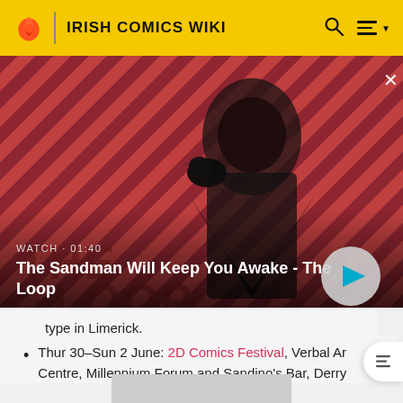IRISH COMICS WIKI
[Figure (screenshot): Video thumbnail showing a dark-caped figure with a raven on shoulder against a red-and-black diagonal striped background. Overlay text reads WATCH · 01:40 and The Sandman Will Keep You Awake - The Loop. A play button is visible at bottom right.]
type in Limerick.
Thur 30-Sun 2 June: 2D Comics Festival, Verbal Ar Centre, Millennium Forum and Sandino's Bar, Derry